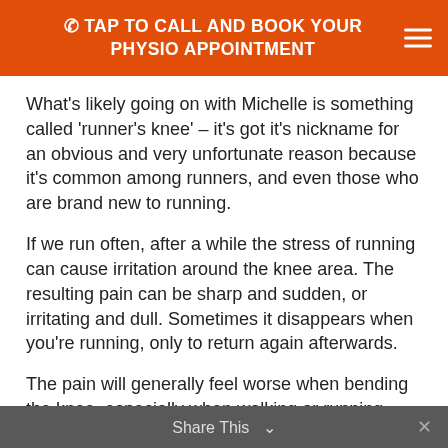TAP TO CALL AND BOOK YOUR PHYSIO APPOINTMENT
What's likely going on with Michelle is something called 'runner's knee' – it's got it's nickname for an obvious and very unfortunate reason because it's common among runners, and even those who are brand new to running.
If we run often, after a while the stress of running can cause irritation around the knee area. The resulting pain can be sharp and sudden, or irritating and dull. Sometimes it disappears when you're running, only to return again afterwards.
The pain will generally feel worse when bending the knee, especially when walking or running downhill, or even something as simple as walking down a flight of stairs!
Share This
So why is Michelle feeling pain in her knee?